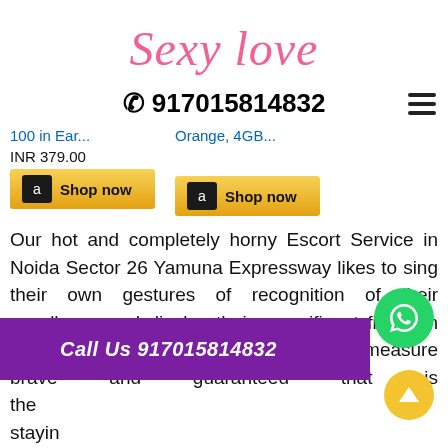[Figure (logo): Sexy love handwritten script logo in pink]
☎ 917015814832
100 in Ear...
Orange, 4GB...
INR 379.00
[Figure (other): Amazon Shop now button 1]
[Figure (other): Amazon Shop now button 2]
Our hot and completely horny Escort Service in Noida Sector 26 Yamuna Expressway likes to sing their own gestures of recognition of their excellence and display their magnificent figure in front of customers. These women square measure brave and guaranteed that is the staying step up to the plate and be savvy in bed at an identical time. Or on the other hand on the off
Call Us 917015814832